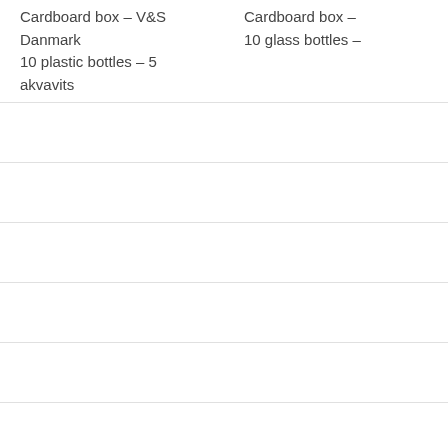| Cardboard box – V&S Danmark
10 plastic bottles – 5 akvavits | Cardboard box –
10 glass bottles – |
|  |  |
|  |  |
|  |  |
|  |  |
|  |  |
|  |  |
|  |  |